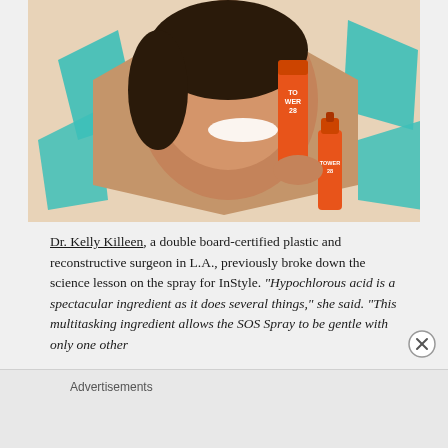[Figure (photo): Advertisement photo showing a smiling woman holding orange Tower 28 beauty spray products against a beige background with teal geometric shapes]
Dr. Kelly Killeen, a double board-certified plastic and reconstructive surgeon in L.A., previously broke down the science lesson on the spray for InStyle. "Hypochlorous acid is a spectacular ingredient as it does several things," she said. "This multitasking ingredient allows the SOS Spray to be gentle with only one other
Advertisements